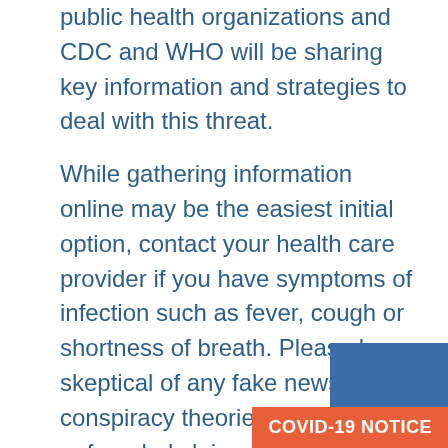public health organizations and CDC and WHO will be sharing key information and strategies to deal with this threat.
While gathering information online may be the easiest initial option, contact your health care provider if you have symptoms of infection such as fever, cough or shortness of breath. Please be skeptical of any fake news, conspiracy theories and unfounded claims on the social media about Coronavirus. Addressing the concerns surrounding 2019-nCoV requires accessible, reliable and updated information from the experts whose mission is to protect public health.
COVID-19 NOTICE